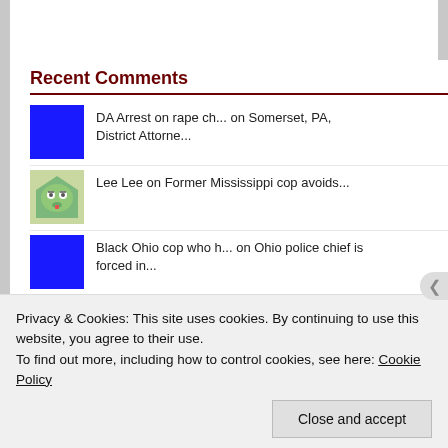[Figure (screenshot): Dark navy blue header banner with dark red bottom border]
Recent Comments
DA Arrest on rape ch... on Somerset, PA, District Attorne...
Lee Lee on Former Mississippi cop avoids...
Black Ohio cop who h... on Ohio police chief is forced in...
Female assassin is c... on Female assassin
Privacy & Cookies: This site uses cookies. By continuing to use this website, you agree to their use.
To find out more, including how to control cookies, see here: Cookie Policy
Close and accept